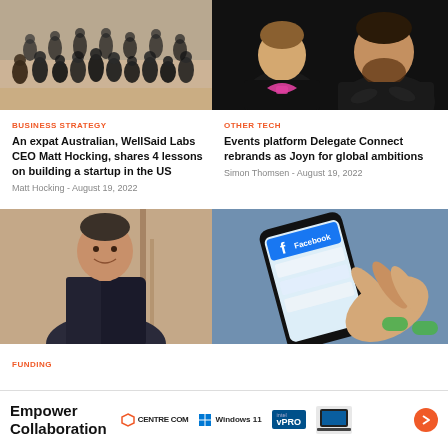[Figure (photo): Group photo of a team wearing black t-shirts]
[Figure (photo): Two men in black shirts, one with a pink logo on shirt]
BUSINESS STRATEGY
OTHER TECH
An expat Australian, WellSaid Labs CEO Matt Hocking, shares 4 lessons on building a startup in the US
Events platform Delegate Connect rebrands as Joyn for global ambitions
Matt Hocking - August 19, 2022
Simon Thomsen - August 19, 2022
[Figure (photo): Middle-aged man in a dark blazer smiling]
[Figure (photo): Hand holding a smartphone showing Facebook app on screen]
FUNDING
[Figure (other): Advertisement banner: Empower Collaboration - Centre Com, Windows 11, Intel vPRO]